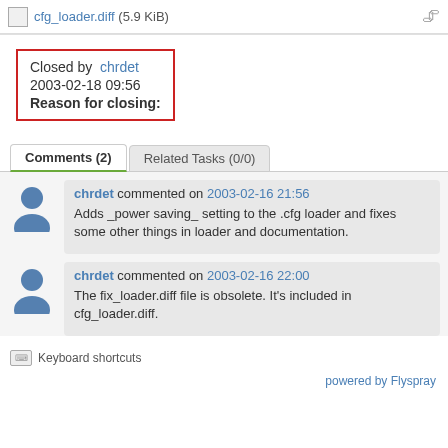cfg_loader.diff (5.9 KiB)
Closed by chrdet
2003-02-18 09:56
Reason for closing:
Comments (2)   Related Tasks (0/0)
chrdet commented on 2003-02-16 21:56
Adds _power saving_ setting to the .cfg loader and fixes some other things in loader and documentation.
chrdet commented on 2003-02-16 22:00
The fix_loader.diff file is obsolete. It's included in cfg_loader.diff.
Keyboard shortcuts
powered by Flyspray